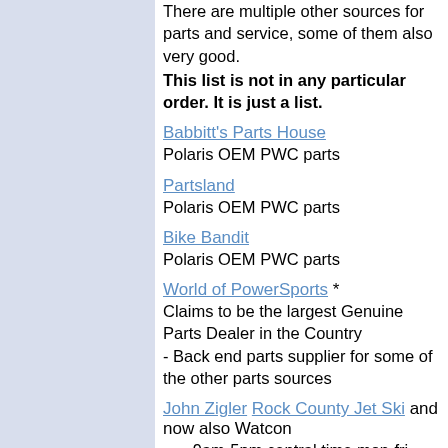There are multiple other sources for parts and service, some of them also very good.
This list is not in any particular order. It is just a list.
Babbitt's Parts House - Polaris OEM PWC parts
Partsland - Polaris OEM PWC parts
Bike Bandit - Polaris OEM PWC parts
World of PowerSports * Claims to be the largest Genuine Parts Dealer in the Country - Back end parts supplier for some of the other parts sources
John Zigler Rock County Jet Ski and now also Watcon 9am-5pm central time mon-fri